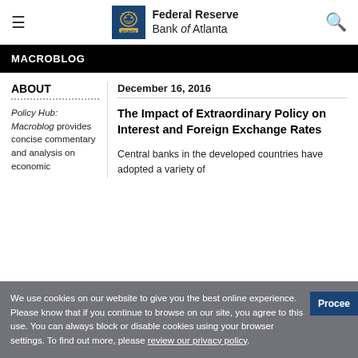Federal Reserve Bank of Atlanta
MACROBLOG
ABOUT
December 16, 2016
Policy Hub: Macroblog provides concise commentary and analysis on economic
The Impact of Extraordinary Policy on Interest and Foreign Exchange Rates
Central banks in the developed countries have adopted a variety of
We use cookies on our website to give you the best online experience. Please know that if you continue to browse on our site, you agree to this use. You can always block or disable cookies using your browser settings. To find out more, please review our privacy policy.